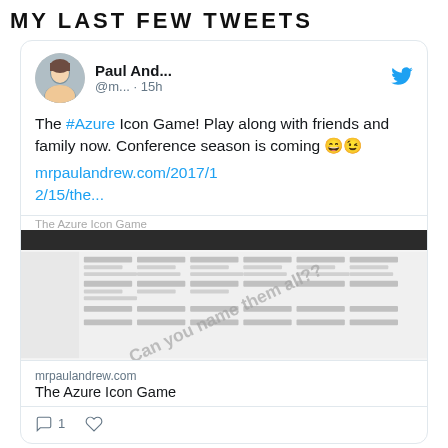MY LAST FEW TWEETS
[Figure (screenshot): A Twitter/social media card showing a tweet by Paul And... (@m...) posted 15h ago. The tweet reads: 'The #Azure Icon Game! Play along with friends and family now. Conference season is coming 😄😉 mrpaulandrew.com/2017/12/15/the...' with a link preview card showing 'The Azure Icon Game' from mrpaulandrew.com, featuring a screenshot with 'Can you name them all??' watermark. The card shows 1 comment and a like icon.]